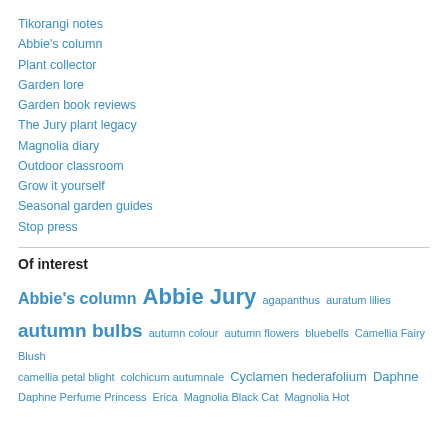Tikorangi notes
Abbie's column
Plant collector
Garden lore
Garden book reviews
The Jury plant legacy
Magnolia diary
Outdoor classroom
Grow it yourself
Seasonal garden guides
Stop press
Of interest
Abbie's column  Abbie Jury  agapanthus  auratum lilies  autumn bulbs  autumn colour  autumn flowers  bluebells  Camellia Fairy Blush  camellia petal blight  colchicum autumnale  Cyclamen hederafolium  Daphne  Daphne Perfume Princess  Erica  Magnolia Black Cat  Magnolia Hot